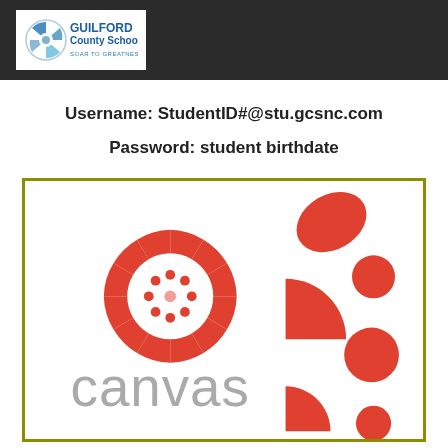[Figure (logo): Guilford County Schools logo — circular emblem with 'GUILFORD County Schools SOAR TO GREATNESS' text on dark header bar]
Username: StudentID#@stu.gcsnc.com
Password: student birthdate
[Figure (logo): Canvas LMS logo — red circular gear-like icon and red abstract paint-splash dots with grey 'canvas' wordmark, inside olive/gold border box]